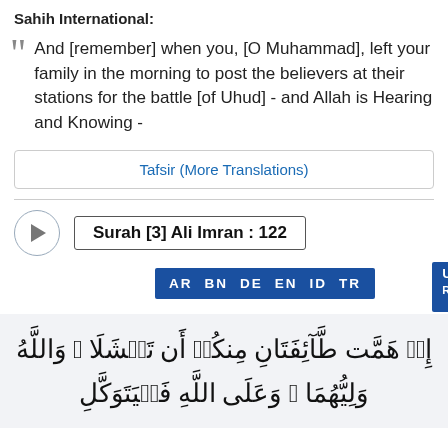Sahih International:
And [remember] when you, [O Muhammad], left your family in the morning to post the believers at their stations for the battle [of Uhud] - and Allah is Hearing and Knowing -
Tafsir (More Translations)
Surah [3] Ali Imran : 122
AR  BN  DE  EN  ID  TR  U
إِذۡ هَمَّت طَّآئِفَتَانِ مِنكُمۡ أَن تَفۡشَلَا وَاللَّهُ وَلِيُّهُمَا ۗ وَعَلَى اللَّهِ فَلۡيَتَوَكَّلِ